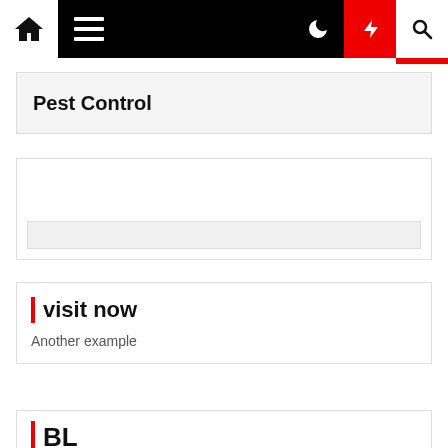Navigation bar with home, menu, moon, lightning, search icons
Pest Control
[Figure (other): Widget or ad placeholder box with a search/input bar at the bottom]
visit now
Another example
BL
TL